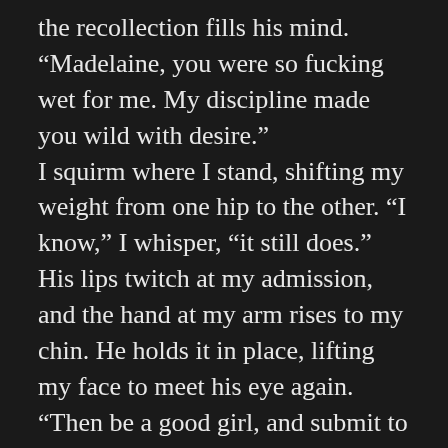the recollection fills his mind. “Madelaine, you were so fucking wet for me. My discipline made you wild with desire.” I squirm where I stand, shifting my weight from one hip to the other. “I know,” I whisper, “it still does.” His lips twitch at my admission, and the hand at my arm rises to my chin. He holds it in place, lifting my face to meet his eye again. “Then be a good girl, and submit to your punishment,” he purrs. “It’s what you deserve, and…” He hesitates, his face leaning in so that our lips graze. “We both know how much you want it.” He is gone in a second, his body moving back towards the recliner before he seats himself in place. Tapping his lap, he gazes up at me. “Are